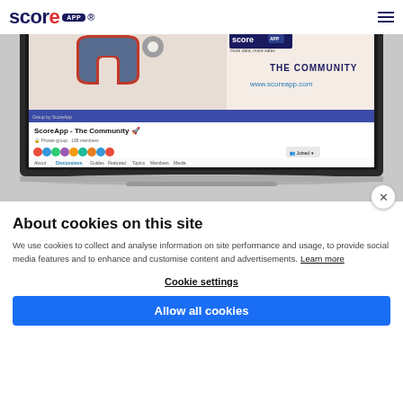ScoreApp logo and navigation
[Figure (screenshot): Laptop screen showing ScoreApp The Community Facebook group page with magnet illustration and scoreapp.com URL]
About cookies on this site
We use cookies to collect and analyse information on site performance and usage, to provide social media features and to enhance and customise content and advertisements. Learn more
Cookie settings
Allow all cookies